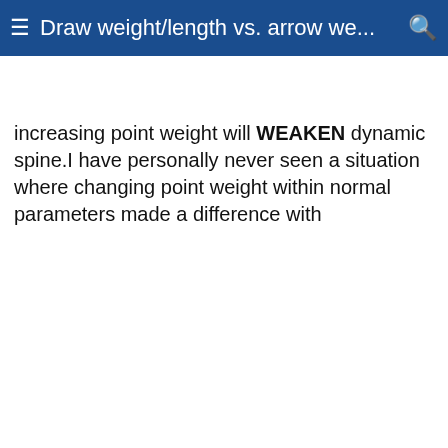Draw weight/length vs. arrow we...
increasing point weight will WEAKEN dynamic spine.I have personally never seen a situation where changing point weight within normal parameters made a difference with
[Figure (screenshot): Video advertisement overlay showing a blue alleyway scene with a play button and FodorsTravel branding. Right panel shows text: How "The Blue City" in Morocco Gets Its Color with a close button.]